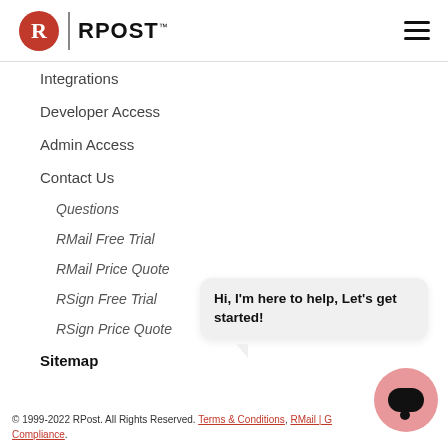RPost logo and navigation menu icon
Integrations
Developer Access
Admin Access
Contact Us
Questions
RMail Free Trial
RMail Price Quote
RSign Free Trial
RSign Price Quote
Sitemap
[Figure (illustration): Chat bubble with text: Hi, I'm here to help, Let's get started!]
[Figure (illustration): Pink chat button with chat icon]
© 1999-2022 RPost. All Rights Reserved. Terms & Conditions, RMail | G Compliance.